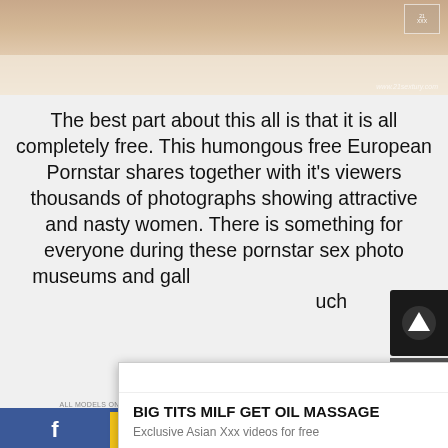[Figure (photo): Top portion of a video/image showing a close-up scene, with a watermark logo in top-right corner]
The best part about this all is that it is all completely free. This humongous free European Pornstar shares together with it's viewers thousands of photographs showing attractive and nasty women. There is something for everyone during these pornstar sex photo museums and galleries. Something that sets this site apart from too much...
TopX... doesn't take... eries. Just th... nt can be... ns, TopX... free site p... sual hig... uts wor... while signifi... g
[Figure (screenshot): Ad overlay from ClickAdilla: BIG TITS MILF GET OIL MASSAGE - Exclusive Asian Xxx videos for free, with thumbnail image and a larger video preview image below]
2j5